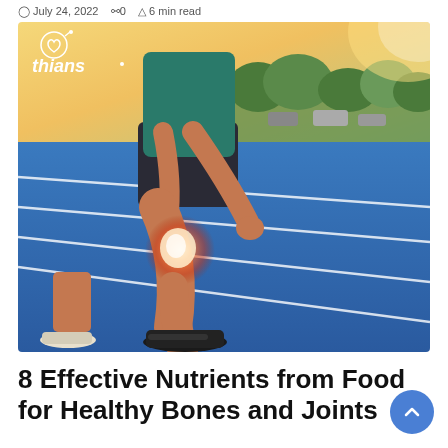July 24, 2022  · 0  · 6 min read
[Figure (photo): A runner on a blue athletic track holding their knee, which is highlighted with a glowing red/orange effect indicating joint pain. The runner wears dark shorts, a teal shirt, and black sneakers. Trees and parked cars are visible in the background. A logo reading 'thians' with a heart icon is visible in the top-left corner of the image.]
8 Effective Nutrients from Food for Healthy Bones and Joints